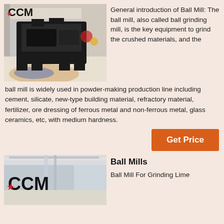[Figure (photo): Industrial ball mill machine in a factory, black heavy equipment with CCM logo and red star in upper left corner]
General introduction of Ball Mill: The ball mill, also called ball grinding mill, is the key equipment to grind the crushed materials, and the ball mill is widely used in powder-making production line including cement, silicate, new-type building material, refractory material, fertilizer, ore dressing of ferrous metal and non-ferrous metal, glass ceramics, etc, with medium hardness.
Get Price
[Figure (photo): Industrial mill equipment factory interior with CCM logo and red star]
Ball Mills
Ball Mill For Grinding Lime